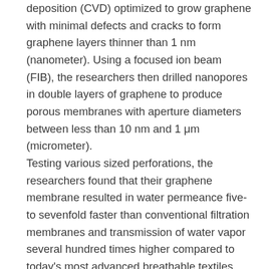deposition (CVD) optimized to grow graphene with minimal defects and cracks to form graphene layers thinner than 1 nm (nanometer). Using a focused ion beam (FIB), the researchers then drilled nanopores in double layers of graphene to produce porous membranes with aperture diameters between less than 10 nm and 1 μm (micrometer).
Testing various sized perforations, the researchers found that their graphene membrane resulted in water permeance five- to sevenfold faster than conventional filtration membranes and transmission of water vapor several hundred times higher compared to today's most advanced breathable textiles such as Gore-Tex. The findings of the LG-ETH Zurich team could lead to the development in the future of highly breathable materials that are also waterproof and more effective filters to separate dangerous